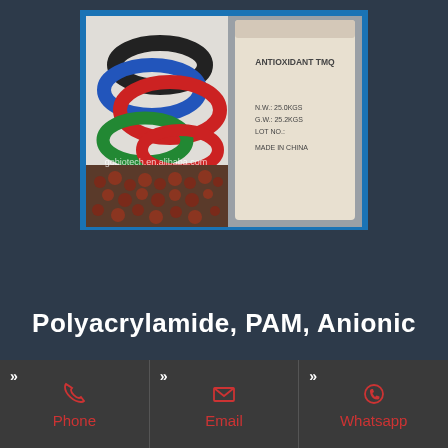[Figure (photo): Product showcase image split into two panels: left panel shows coiled rubber/plastic hoses in red, blue, black, and green colors with small brown pellets below and a watermark 'gobiotech.en.alibaba.com'; right panel shows a white bag labeled 'ANTIOXIDANT TMQ' with text N.W.: 25.0KGS, G.W.: 25.2KGS, LOT NO., MADE IN CHINA]
Polyacrylamide, PAM, Anionic
Phone
Email
Whatsapp